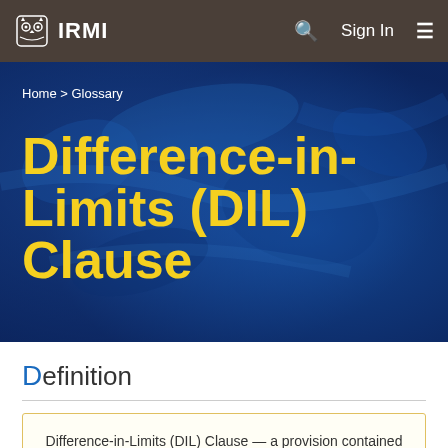IRMI  Search  Sign In  Menu
[Figure (screenshot): IRMI website hero banner with blue textured background showing breadcrumb navigation 'Home > Glossary' and page title 'Difference-in-Limits (DIL) Clause' in large yellow bold text]
Home > Glossary
Difference-in-Limits (DIL) Clause
Definition
Difference-in-Limits (DIL) Clause — a provision contained in a master international insurance program (often referred